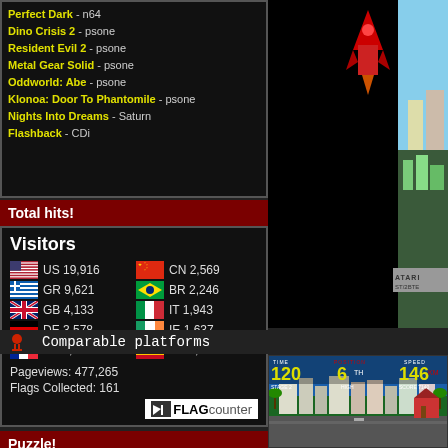Perfect Dark - n64
Dino Crisis 2 - psone
Resident Evil 2 - psone
Metal Gear Solid - psone
Oddworld: Abe - psone
Klonoa: Door To Phantomile - psone
Nights Into Dreams - Saturn
Flashback - CDi
Total hits!
[Figure (infographic): Visitors flag counter widget showing visitor counts by country: US 19,916 CN 2,569 GR 9,621 BR 2,246 GB 4,133 IT 1,943 DE 3,578 IE 1,637 FR 2,923 ES 1,581. Pageviews: 477,265. Flags Collected: 161.]
Puzzle!
[Figure (illustration): Puzzle icon - grey rounded square with blue puzzle piece]
[Figure (screenshot): Dark game screenshot with red rocket/spaceship on black background, city scene on right]
Comparable platforms
[Figure (screenshot): Racing game screenshot showing TIME 120, POSITION 6th HIGH, SPEED 146, STAGE 2, SCORE 7140, with city background]